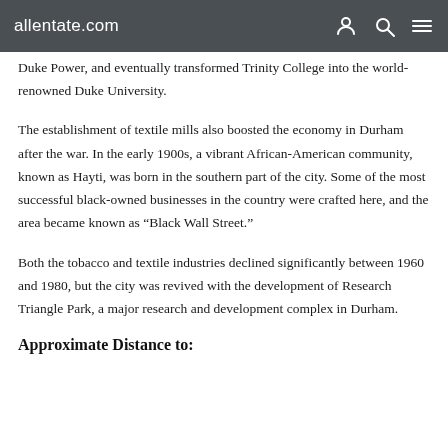allentate.com
Duke Power, and eventually transformed Trinity College into the world-renowned Duke University.
The establishment of textile mills also boosted the economy in Durham after the war. In the early 1900s, a vibrant African-American community, known as Hayti, was born in the southern part of the city. Some of the most successful black-owned businesses in the country were crafted here, and the area became known as “Black Wall Street.”
Both the tobacco and textile industries declined significantly between 1960 and 1980, but the city was revived with the development of Research Triangle Park, a major research and development complex in Durham.
Approximate Distance to: